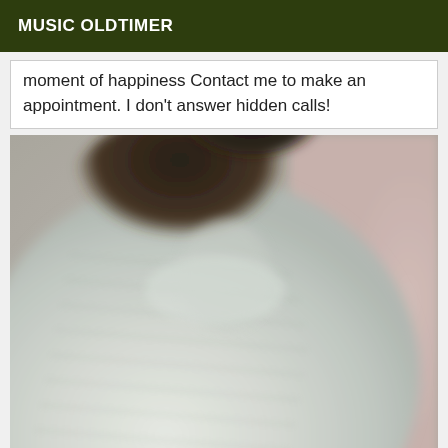MUSIC OLDTIMER
moment of happiness Contact me to make an appointment. I don't answer hidden calls!
[Figure (photo): A blurry close-up photo of a person wearing a light mint/white ribbed turtleneck top. The photo shows mostly the torso and lower face/neck area. The background is a pinkish-beige wall.]